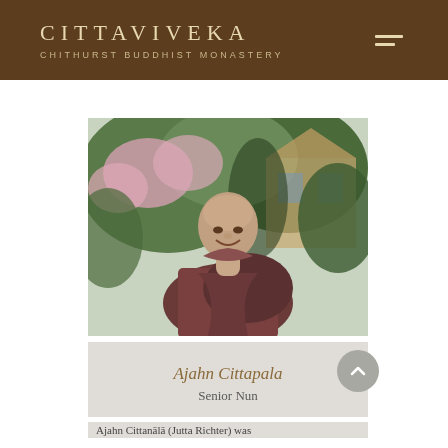CITTAVIVEKA
CHITHURST BUDDHIST MONASTERY
[Figure (photo): Portrait photo of Ajahn Cittapala, a smiling Buddhist nun with shaved head wearing dark reddish-brown robes, standing outdoors with pink flowering trees and a timber-framed building in the background.]
Ajahn Cittapala
Senior Nun
Ajahn Cittanālā (Jutta Richter) was